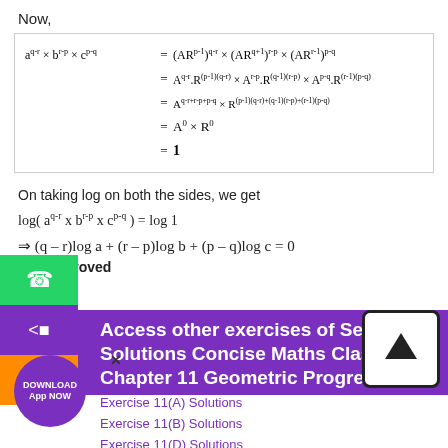Now,
On taking log on both the sides, we get
Hence Proved
Access other exercises of Selina Solutions Concise Maths Class 10 Chapter 11 Geometric Progression
Exercise 11(A) Solutions
Exercise 11(B) Solutions
Exercise 11(D) Solutions